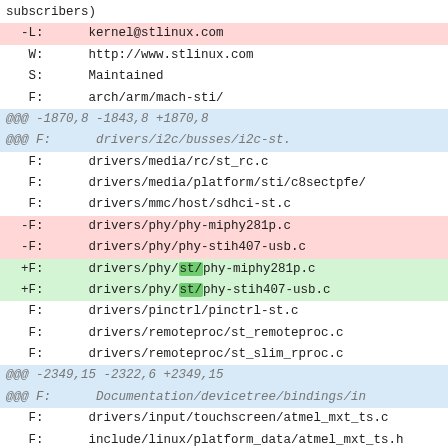subscribers)
-L:      kernel@stlinux.com
W:      http://www.stlinux.com
S:      Maintained
F:      arch/arm/mach-sti/
@@@ -1870,8 -1843,8 +1870,8
@@@ F:      drivers/i2c/busses/i2c-st.
F:      drivers/media/rc/st_rc.c
F:      drivers/media/platform/sti/c8sectpfe/
F:      drivers/mmc/host/sdhci-st.c
-F:      drivers/phy/phy-miphy281p.c
-F:      drivers/phy/phy-stih407-usb.c
+F:      drivers/phy/st/phy-miphy281p.c
+F:      drivers/phy/st/phy-stih407-usb.c
F:      drivers/pinctrl/pinctrl-st.c
F:      drivers/remoteproc/st_remoteproc.c
F:      drivers/remoteproc/st_slim_rproc.c
@@@ -2349,15 -2322,6 +2349,15
@@@ F:      Documentation/devicetree/bindings/in
F:      drivers/input/touchscreen/atmel_mxt_ts.c
F:      include/linux/platform_data/atmel_mxt_ts.h
+ATOMIC INFRASTRUCTURE
+M:      Will Deacon <will.deacon@arm.com>
+M:      Peter Zijlstra <peterz@infradead.org>